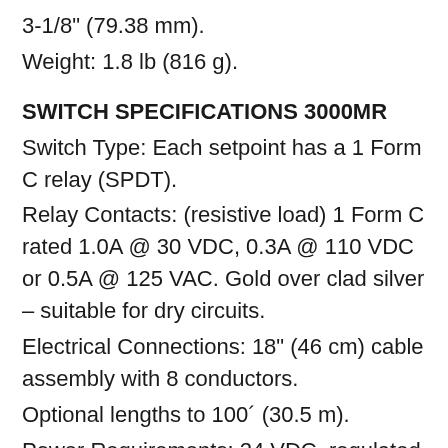3-1/8" (79.38 mm).
Weight: 1.8 lb (816 g).
SWITCH SPECIFICATIONS 3000MR
Switch Type: Each setpoint has a 1 Form C relay (SPDT).
Relay Contacts: (resistive load) 1 Form C rated 1.0A @ 30 VDC, 0.3A @ 110 VDC or 0.5A @ 125 VAC. Gold over clad silver – suitable for dry circuits.
Electrical Connections: 18" (46 cm) cable assembly with 8 conductors.
Optional lengths to 100´ (30.5 m).
Power Requirements: 24 VDC, regulated ±10%.
Mounting Orientation: Diaphragm in vertical position. Consult factory for other position